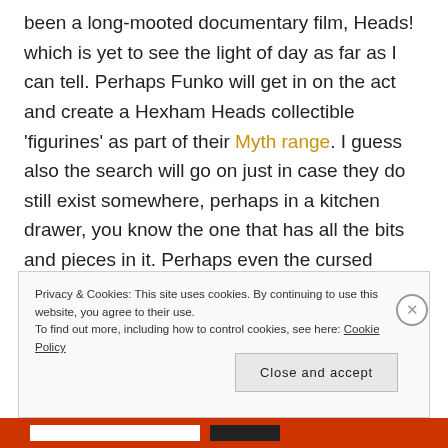been a long-mooted documentary film, Heads! which is yet to see the light of day as far as I can tell. Perhaps Funko will get in on the act and create a Hexham Heads collectible 'figurines' as part of their Myth range. I guess also the search will go on just in case they do still exist somewhere, perhaps in a kitchen drawer, you know the one that has all the bits and pieces in it. Perhaps even the cursed Nationwide footage will
Privacy & Cookies: This site uses cookies. By continuing to use this website, you agree to their use. To find out more, including how to control cookies, see here: Cookie Policy
Close and accept